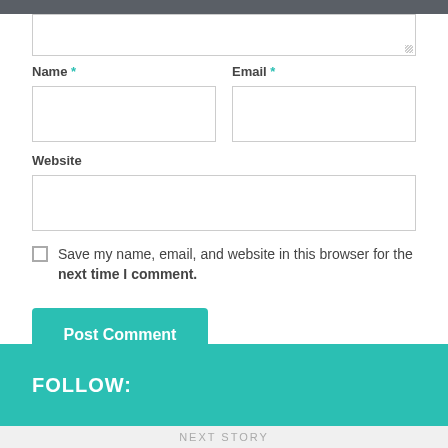Name * Email *
Website
Save my name, email, and website in this browser for the next time I comment.
Post Comment
FOLLOW:
NEXT STORY